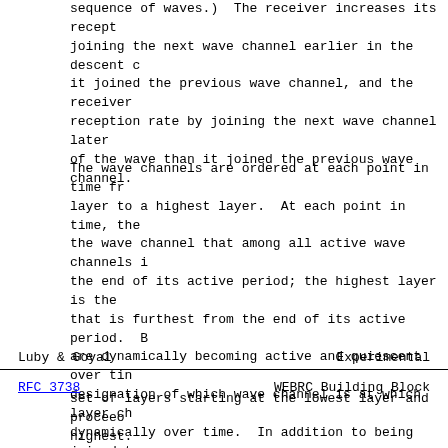sequence of waves.)  The receiver increases its recept joining the next wave channel earlier in the descent c it joined the previous wave channel, and the receiver reception rate by joining the next wave channel later of the wave than it joined the previous wave channel.
The wave channels are ordered at each point in time fr layer to a highest layer.  At each point in time, the the wave channel that among all active wave channels i the end of its active period; the highest layer is the that is furthest from the end of its active period. B are dynamically becoming active and quiescent over tin designation of which wave channel is at which layer ch dynamically over time.  In addition to being joined to channel, at each point in time a receiver is joined to
Luby & Goyal                                      Experimental
RFC 3738                   WEBRC Building Block
set of layers starting at the lowest layer and proceeo highest.
WEBRC introduces a natural notion of a multicast rounr (MRTT).  An MRTT is measured individually by each rece